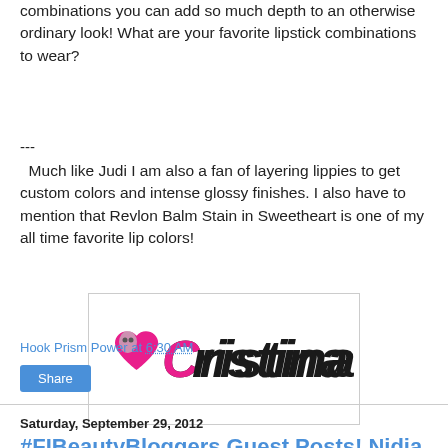combinations you can add so much depth to an otherwise ordinary look!  What are your favorite lipstick combinations to wear?
---
Much like Judi I am also a fan of layering lippies to get custom colors and intense glossy finishes. I also have to mention that Revlon Balm Stain in Sweetheart is one of my all time favorite lip colors!
[Figure (logo): Cristina blog signature logo with pink heart and stylized pink/black text reading 'Cristina']
Hook Prism Power at 6:30 AM
Share
Saturday, September 29, 2012
#FIBeautyBloggers Guest Posts! Nidia from Lit from Within